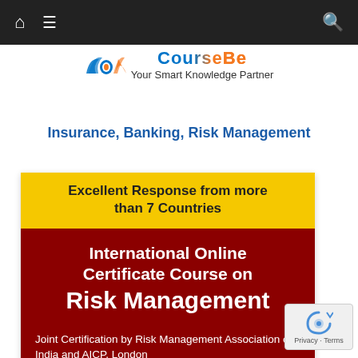Navigation bar with home, menu, and search icons
[Figure (logo): CourseU logo with wings graphic and tagline 'Your Smart Knowledge Partner']
Insurance, Banking, Risk Management
[Figure (infographic): Banner card: Yellow section 'Excellent Response from more than 7 Countries', dark red section 'International Online Certificate Course on Risk Management', 'Joint Certification by Risk Management Association of India and AICP, London', footer 'Practical oriented course on Risk Management']